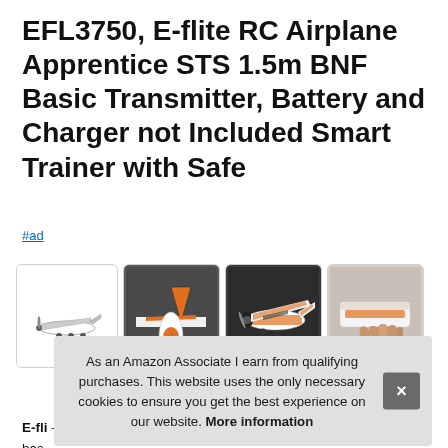EFL3750, E-flite RC Airplane Apprentice STS 1.5m BNF Basic Transmitter, Battery and Charger not Included Smart Trainer with Safe
#ad
[Figure (photo): Four thumbnail photos of the E-flite RC Apprentice STS airplane from different angles: front view on white background, rear angled view on dark background, side/front on dark background, hand holding wing on light background]
As an Amazon Associate I earn from qualifying purchases. This website uses the only necessary cookies to ensure you get the best experience on our website. More information
E-fli —no bas bind it to the Spektrum 8-channel receiver included with this